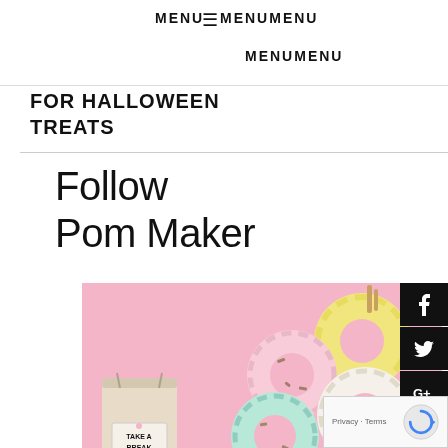MENU ☰ MENUMENU
FOR HALLOWEEN TREATS
MENUMENU
Follow Pom Maker
[Figure (photo): Pink background with donut-shaped pom-pom makers in yellow, pink, white, and mint colors with sprinkles, and a small cloth bag with a tag reading TAKE A BREAK MAKE PO...]
[Figure (infographic): Black social media buttons on the right side: Facebook (f), Twitter bird, Google Plus (G+), Pinterest (P)]
[Figure (other): reCAPTCHA widget with Privacy - Terms text]